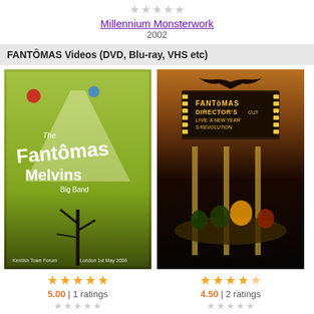[Figure (other): 5 gray empty stars rating row]
Millennium Monsterwork
2002
FANTÔMAS Videos (DVD, Blu-ray, VHS etc)
[Figure (photo): Album cover art for Live From London 2006 - Fantomas Melvins Big Band, dark illustrated poster, Kentish Town Forum London 1st May 2006]
[Figure (photo): Album cover art for The Director's Cut Live: A New Year's Revolution - Fantomas live performance photo with yellow/gold theater marquee sign]
5.00 | 1 ratings
4.50 | 2 ratings
Live From London 2006
2008
The Director's Cut Live: A New Year's Revolution
2011